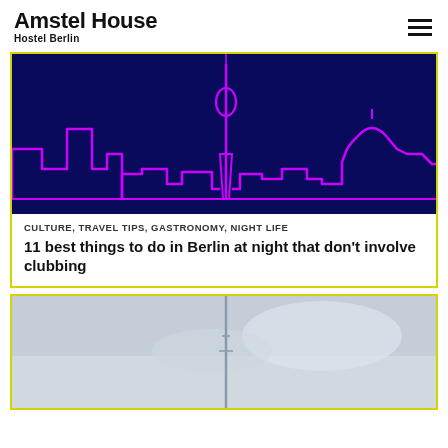Amstel House Hostel Berlin
[Figure (illustration): Neon purple outline of Berlin skyline including the TV Tower on a dark navy background]
CULTURE, TRAVEL TIPS, GASTRONOMY, NIGHT LIFE
11 best things to do in Berlin at night that don’t involve clubbing
[Figure (photo): Partial view of a hazy grey-blue sky with a tall structure visible in center]